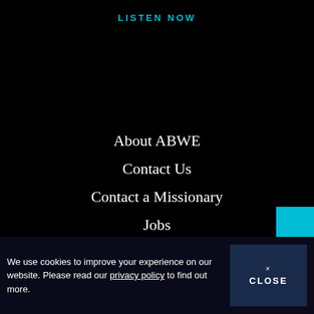LISTEN NOW
About ABWE
Contact Us
Contact a Missionary
Jobs
Privacy Policy
Message Archives
Protecting Our Children
Terms and Conditions
DONATE
We use cookies to improve your experience on our website. Please read our privacy policy to find out more.
x CLOSE